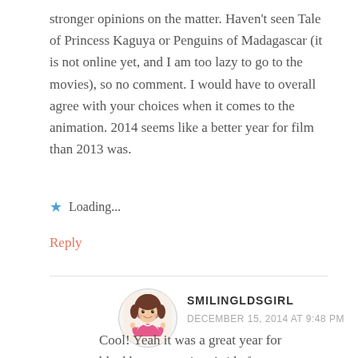stronger opinions on the matter. Haven't seen Tale of Princess Kaguya or Penguins of Madagascar (it is not online yet, and I am too lazy to go to the movies), so no comment. I would have to overall agree with your choices when it comes to the animation. 2014 seems like a better year for film than 2013 was.
Loading...
Reply
SMILINGLDSGIRL
DECEMBER 15, 2014 AT 9:48 PM
[Figure (illustration): Circular avatar image of a cartoon girl with brown hair wearing a pink outfit]
Cool! Yeah it was a great year for blockbuster movies. Aside from Transformers the other sequels and